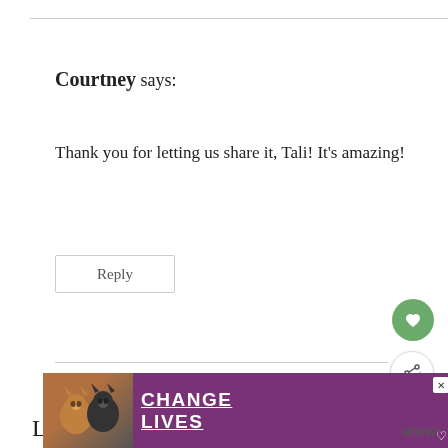Courtney says:
Thank you for letting us share it, Tali! It's amazing!
Reply
Leave a Reply
Your email address will not be published. Required
[Figure (other): Advertisement banner with cats and text CHANGE LIVES on purple background]